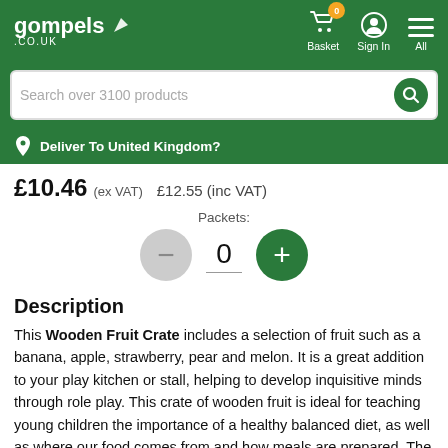[Figure (screenshot): Gompels.co.uk website header with logo, basket (0 items), Sign In, and All navigation icons on green background]
[Figure (screenshot): Search bar with placeholder text 'Search over 3100 products' and green search button]
Deliver To United Kingdom?
£10.46 (ex VAT)   £12.55 (inc VAT)
Packets: 0
Description
This Wooden Fruit Crate includes a selection of fruit such as a banana, apple, strawberry, pear and melon. It is a great addition to your play kitchen or stall, helping to develop inquisitive minds through role play. This crate of wooden fruit is ideal for teaching young children the importance of a healthy balanced diet, as well as where our food comes from and how meals are prepared. The storage crate is also perfect for putting it away neatly at the end of the day.